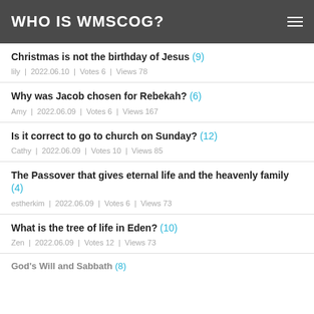WHO IS WMSCOG?
Christmas is not the birthday of Jesus (9) | lily | 2022.06.10 | Votes 6 | Views 78
Why was Jacob chosen for Rebekah? (6) | Amy | 2022.06.09 | Votes 6 | Views 167
Is it correct to go to church on Sunday? (12) | Cathy | 2022.06.09 | Votes 10 | Views 85
The Passover that gives eternal life and the heavenly family (4) | estherkim | 2022.06.09 | Votes 6 | Views 73
What is the tree of life in Eden? (10) | Zen | 2022.06.09 | Votes 12 | Views 73